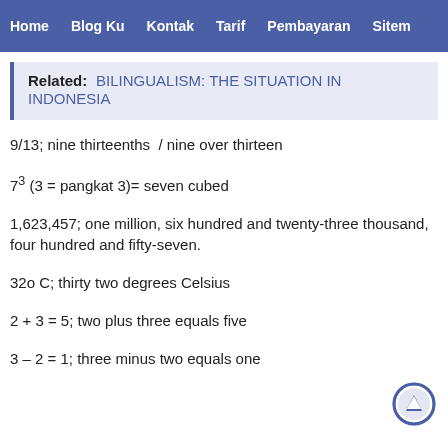Home  Blog Ku  Kontak  Tarif  Pembayaran  Sitem
Related: BILINGUALISM: THE SITUATION IN INDONESIA
9/13; nine thirteenths  /  nine over thirteen
73 (3 = pangkat 3)= seven cubed
1,623,457; one million, six hundred and twenty-three thousand, four hundred and fifty-seven.
32o C; thirty two degrees Celsius
2 + 3 = 5; two plus three equals five
3 – 2 = 1; three minus two equals one